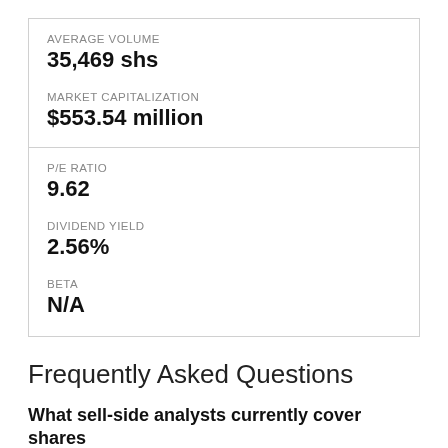AVERAGE VOLUME
35,469 shs
MARKET CAPITALIZATION
$553.54 million
P/E RATIO
9.62
DIVIDEND YIELD
2.56%
BETA
N/A
Frequently Asked Questions
What sell-side analysts currently cover shares